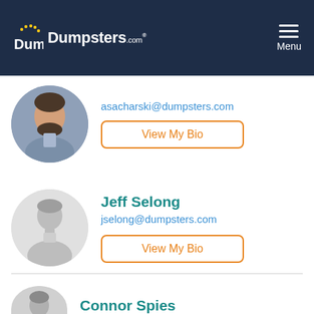[Figure (logo): Dumpsters.com logo with stars on dark navy header background]
[Figure (photo): Circular profile photo of a man with beard in grey blazer - asacharski]
asacharski@dumpsters.com
View My Bio
[Figure (illustration): Generic grey silhouette avatar circle for Jeff Selong]
Jeff Selong
jselong@dumpsters.com
View My Bio
[Figure (illustration): Generic grey silhouette avatar partially visible for Connor Spies]
Connor Spies